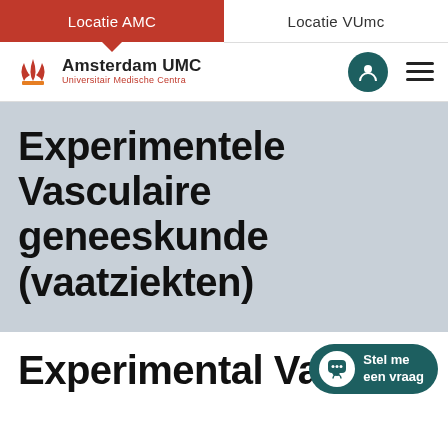Locatie AMC | Locatie VUmc
[Figure (logo): Amsterdam UMC logo with tulip/flame icon, text 'Amsterdam UMC' and 'Universitair Medische Centra']
Experimentele Vasculaire geneeskunde (vaatziekten)
Experimental Vascular